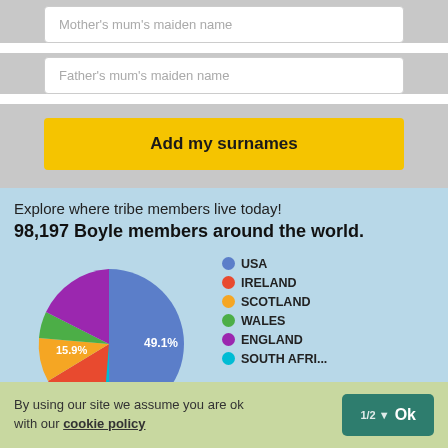Mother's mum's maiden name
Father's mum's maiden name
Add my surnames
Explore where tribe members live today!
98,197 Boyle members around the world.
[Figure (pie-chart): 98,197 Boyle members around the world.]
By using our site we assume you are ok with our cookie policy
1/2 Ok